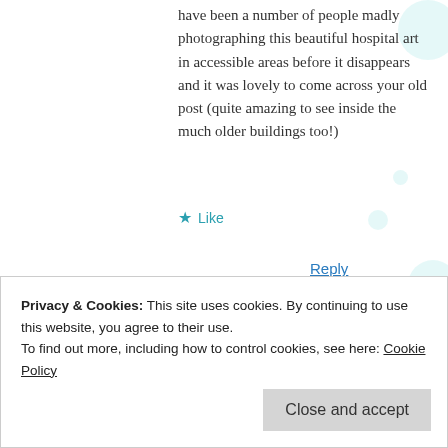have been a number of people madly photographing this beautiful hospital art in accessible areas before it disappears and it was lovely to come across your old post (quite amazing to see inside the much older buildings too!)
★ Like
Reply
Katie  January 8, 2018 at 10:15 pm
wow, i spent a good year in that hospital in 2008,
Privacy & Cookies: This site uses cookies. By continuing to use this website, you agree to their use.
To find out more, including how to control cookies, see here: Cookie Policy
Close and accept